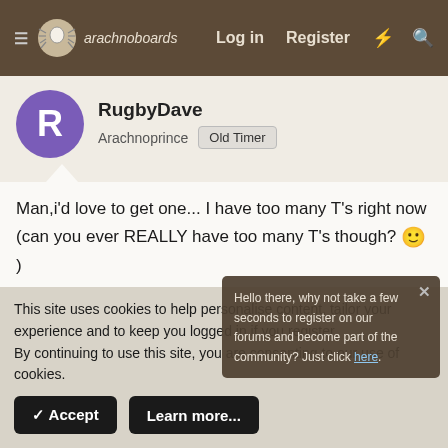arachnoboards — Log in | Register
RugbyDave
Arachnoprince | Old Timer
Man,i'd love to get one... I have too many T's right now (can you ever REALLY have too many T's though? 🙂 )

But seriously, about 15 in the past 2 days?? And thats not even from a show, its from a store. 🙂

one day i'll get a DOCILE species for now i'll stick with my family of many aggressive ones. They're fun to watch at least!
Hello there, why not take a few seconds to register on our forums and become part of the community? Just click here.
This site uses cookies to help personalise content, tailor your experience and to keep you logged in if you register.
By continuing to use this site, you are consenting to our use of cookies.
✓ Accept | Learn more...